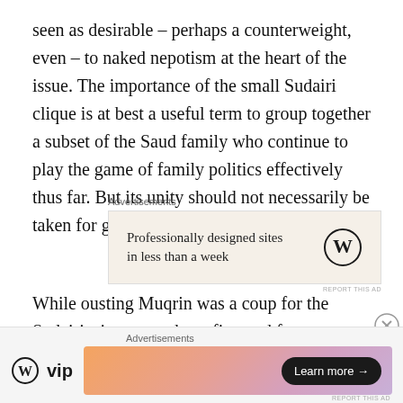seen as desirable – perhaps a counterweight, even – to naked nepotism at the heart of the issue. The importance of the small Sudairi clique is at best a useful term to group together a subset of the Saud family who continue to play the game of family politics effectively thus far. But its unity should not necessarily be taken for granted.
[Figure (other): Advertisement banner: WordPress ad reading 'Professionally designed sites in less than a week' with WordPress logo on a beige background. 'REPORT THIS AD' text below.]
While ousting Muqrin was a coup for the Sudairis, it was, perhaps first and foremost, a coup for Salman himself – but with unpredictable results. This proves a salient
[Figure (other): Advertisement bar at bottom: 'Advertisements' label. WordPress VIP logo on left. Colorful gradient banner on right with 'Learn more →' button in dark pill shape. Close button (X in circle) in corner.]